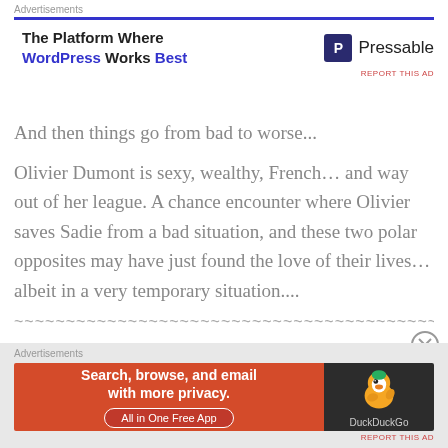[Figure (screenshot): Top advertisement banner: 'The Platform Where WordPress Works Best' with Pressable logo and blue divider line]
And then things go from bad to worse...
Olivier Dumont is sexy, wealthy, French... and way out of her league. A chance encounter where Olivier saves Sadie from a bad situation, and these two polar opposites may have just found the love of their lives... albeit in a very temporary situation....
~~~~~~~~~~~~~~~~~~~~~~~~~~~~~~~~~~~~~~~~~~~~~~~~~~~~~~~~~~~
[Figure (screenshot): Bottom advertisement banner: DuckDuckGo 'Search, browse, and email with more privacy. All in One Free App']